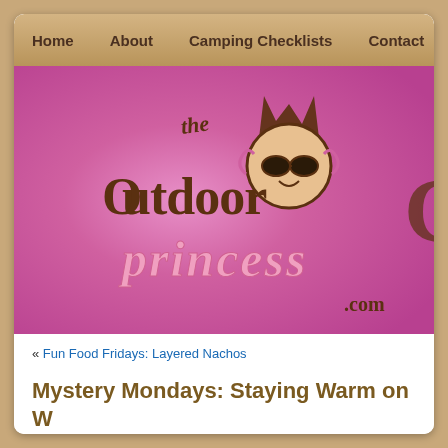Home | About | Camping Checklists | Contact | eBook
[Figure (logo): The Outdoor Princess .com logo on pink gradient background with stylized queen character wearing sunglasses and crown]
« Fun Food Fridays: Layered Nachos
Mystery Mondays: Staying Warm on W... Adventures
December 21st, 2009 | Author: Kim